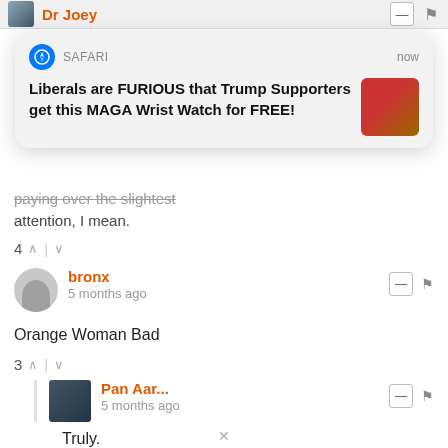[Figure (screenshot): Top bar showing Dr Joey username in orange with avatar, dash button, and flag icon]
[Figure (screenshot): Safari browser push notification popup: 'Liberals are FURIOUS that Trump Supporters get this MAGA Wrist Watch for FREE!' with a thumbnail image of Trump]
paying over the slightest attention, I mean.
4 ^ | v
[Figure (screenshot): Comment by bronx, 5 months ago, with dash button and flag icon]
Orange Woman Bad
3 ^ | v
[Figure (screenshot): Nested reply by Pan Aar..., 5 months ago, with avatar, dash button and flag icon]
Truly.